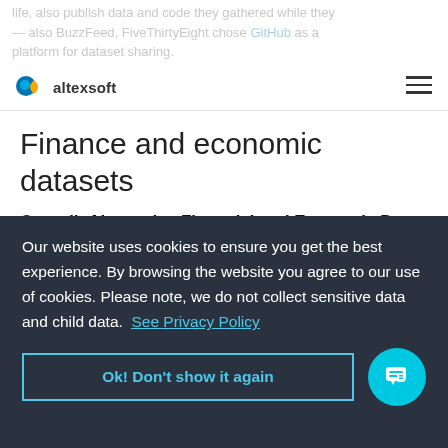life, also publish data and code they gathered while they — also BuzzFeed, FiveThirtyEight chose GitHub as a platform for dataset sharing.
Finance and economic datasets
Quandl: Alternative Financial and Economic Data
Quandl is a source of financial and economic data. The main feature of this platform is that it also provides alternative or untapped data from "non-traditional publishers" that ha—
Our website uses cookies to ensure you get the best experience. By browsing the website you agree to our use of cookies. Please note, we do not collect sensitive data and child data. See Privacy Policy
Ok! Don't show it again